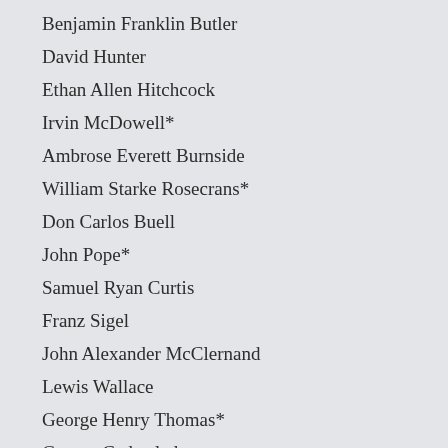Benjamin Franklin Butler
David Hunter
Ethan Allen Hitchcock
Irvin McDowell*
Ambrose Everett Burnside
William Starke Rosecrans*
Don Carlos Buell
John Pope*
Samuel Ryan Curtis
Franz Sigel
John Alexander McClernand
Lewis Wallace
George Henry Thomas*
George Cadwalader